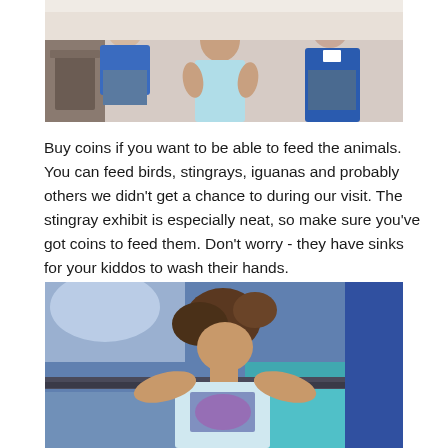[Figure (photo): Photo of children sitting indoors, one girl with a pink hair bow wearing a light blue top, others in blue shirts, appearing to be at an animal/educational exhibit]
Buy coins if you want to be able to feed the animals. You can feed birds, stingrays, iguanas and probably others we didn't get a chance to during our visit. The stingray exhibit is especially neat, so make sure you've got coins to feed them. Don't worry - they have sinks for your kiddos to wash their hands.
[Figure (photo): Photo of a young girl with her hair up leaning over what appears to be a stingray tank/exhibit, blue and aqua water visible in background]